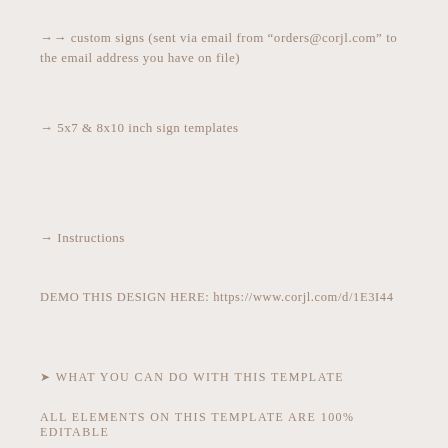→ custom signs (sent via email from "orders@corjl.com" to the email address you have on file)
→ 5x7 & 8x10 inch sign templates
→ Instructions
DEMO THIS DESIGN HERE: https://www.corjl.com/d/1E3I44
➤ WHAT YOU CAN DO WITH THIS TEMPLATE
ALL ELEMENTS ON THIS TEMPLATE ARE 100% EDITABLE